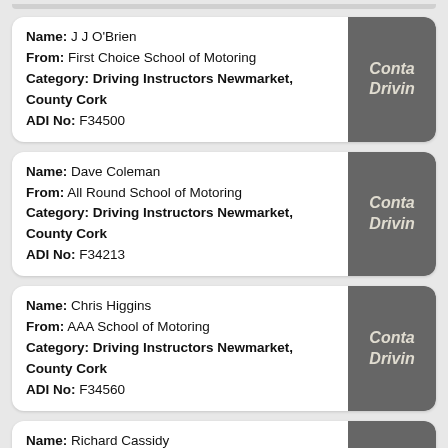Name: J J O'Brien
From: First Choice School of Motoring
Category: Driving Instructors Newmarket, County Cork
ADI No: F34500
Name: Dave Coleman
From: All Round School of Motoring
Category: Driving Instructors Newmarket, County Cork
ADI No: F34213
Name: Chris Higgins
From: AAA School of Motoring
Category: Driving Instructors Newmarket, County Cork
ADI No: F34560
Name: Richard Cassidy
From: AA School of Motoring
Category: Driving Instructors Newmarket, County Cork
ADI No: F35111